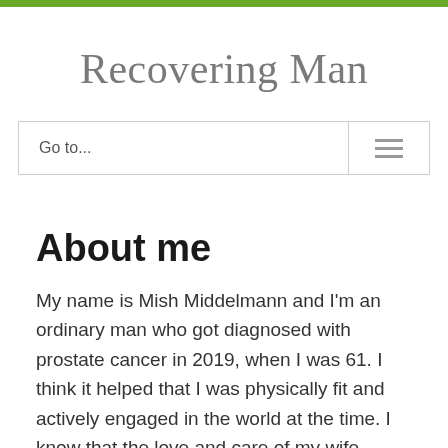Recovering Man
Go to...
About me
My name is Mish Middelmann and I'm an ordinary man who got diagnosed with prostate cancer in 2019, when I was 61. I think it helped that I was physically fit and actively engaged in the world at the time. I know that the love and care of my wife